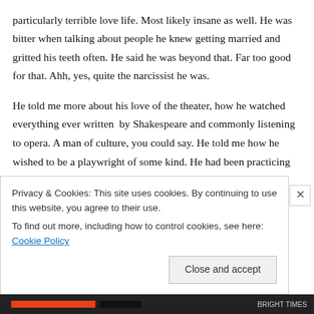particularly terrible love life. Most likely insane as well. He was bitter when talking about people he knew getting married and gritted his teeth often. He said he was beyond that. Far too good for that. Ahh, yes, quite the narcissist he was.
He told me more about his love of the theater, how he watched everything ever written  by Shakespeare and commonly listening to opera. A man of culture, you could say. He told me how he wished to be a playwright of some kind. He had been practicing with puppets, which he called "..." He wasn't a huge fan of people so he had
Privacy & Cookies: This site uses cookies. By continuing to use this website, you agree to their use.
To find out more, including how to control cookies, see here: Cookie Policy